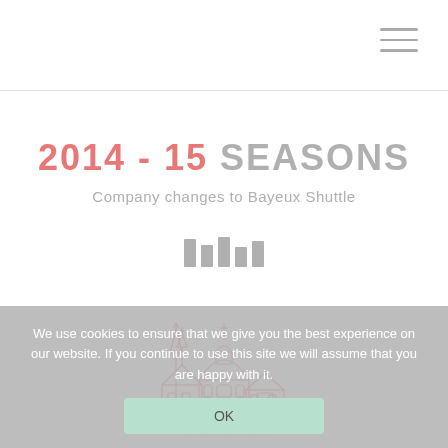2014 - 15 SEASONS
Company changes to Bayeux Shuttle
[Figure (illustration): Five vertical bar chart-like decorative bars in grey]
[Figure (illustration): Line drawing of a cathedral/church (Bayeux Cathedral) with spires and dome, rendered in pink/red outline style, with watermark text 'Bayeux' beneath]
We use cookies to ensure that we give you the best experience on our website. If you continue to use this site we will assume that you are happy with it.
OK